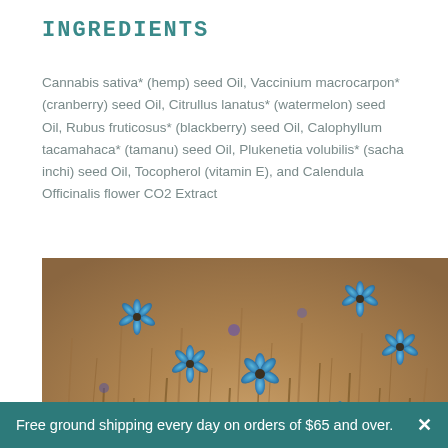INGREDIENTS
Cannabis sativa* (hemp) seed Oil, Vaccinium macrocarpon* (cranberry) seed Oil, Citrullus lanatus* (watermelon) seed Oil, Rubus fruticosus* (blackberry) seed Oil, Calophyllum tacamahaca* (tamanu) seed Oil, Plukenetia volubilis* (sacha inchi) seed Oil, Tocopherol (vitamin E), and Calendula Officinalis flower CO2 Extract
[Figure (photo): Field of blue cornflowers on warm golden-brown background, with a teal circular crown badge in the lower right corner]
Free ground shipping every day on orders of $65 and over.  ×